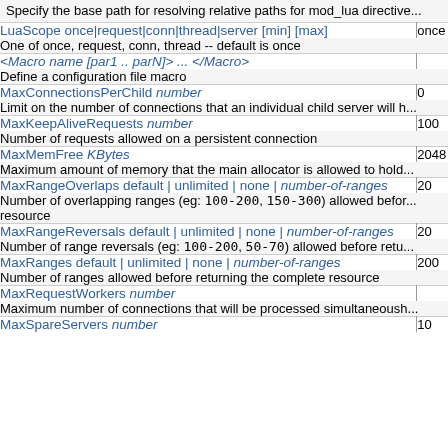| Directive | Default |
| --- | --- |
| Specify the base path for resolving relative paths for mod_lua directive... |  |
| LuaScope once|request|conn|thread|server [min] [max] | once |
| One of once, request, conn, thread -- default is once |  |
| <Macro name [par1 .. parN]> ... </Macro> |  |
| Define a configuration file macro |  |
| MaxConnectionsPerChild number | 0 |
| Limit on the number of connections that an individual child server will h... |  |
| MaxKeepAliveRequests number | 100 |
| Number of requests allowed on a persistent connection |  |
| MaxMemFree KBytes | 2048 |
| Maximum amount of memory that the main allocator is allowed to hold... |  |
| MaxRangeOverlaps default | unlimited | none | number-of-ranges | 20 |
| Number of overlapping ranges (eg: 100-200, 150-300) allowed befor... resource |  |
| MaxRangeReversals default | unlimited | none | number-of-ranges | 20 |
| Number of range reversals (eg: 100-200, 50-70) allowed before retu... |  |
| MaxRanges default | unlimited | none | number-of-ranges | 200 |
| Number of ranges allowed before returning the complete resource |  |
| MaxRequestWorkers number |  |
| Maximum number of connections that will be processed simultaneoush... |  |
| MaxSpareServers number | 10 |